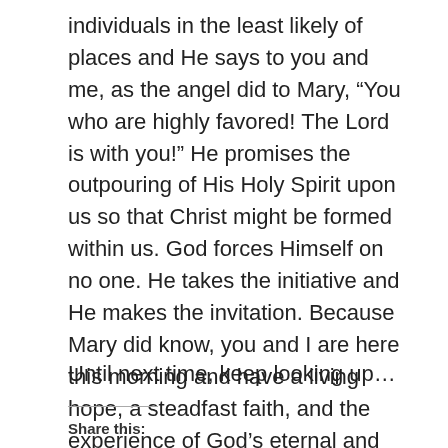individuals in the least likely of places and He says to you and me, as the angel did to Mary, “You who are highly favored! The Lord is with you!” He promises the outpouring of His Holy Spirit upon us so that Christ might be formed within us. God forces Himself on no one. He takes the initiative and He makes the invitation. Because Mary did know, you and I are here this morning and have a living hope, a steadfast faith, and the experience of God’s eternal and life-transforming love. This hurting and broken world doesn’t need to know if Mary knew. This hurting and broken world needs to know if we do.
Until next time, keep looking up…
Share this: